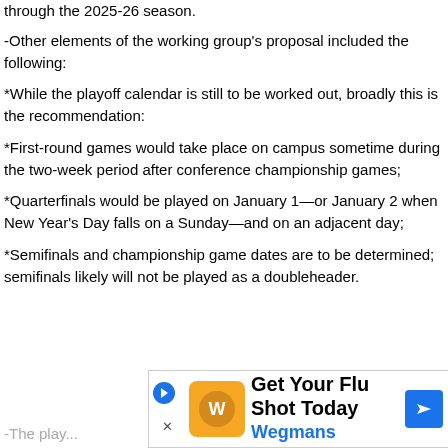through the 2025-26 season.
-Other elements of the working group's proposal included the following:
*While the playoff calendar is still to be worked out, broadly this is the recommendation:
*First-round games would take place on campus sometime during the two-week period after conference championship games;
*Quarterfinals would be played on January 1—or January 2 when New Year's Day falls on a Sunday—and on an adjacent day;
*Semifinals and championship game dates are to be determined; semifinals likely will not be played as a doubleheader.
[Figure (infographic): Advertisement banner: Get Your Flu Shot Today - Wegmans]
-The play...